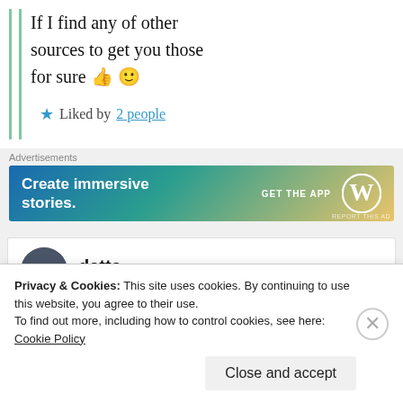If I find any of other sources to get you those for sure 👍 🙂
★ Liked by 2 people
Advertisements
[Figure (other): WordPress advertisement banner: 'Create immersive stories. GET THE APP' with WordPress logo]
datta
Privacy & Cookies: This site uses cookies. By continuing to use this website, you agree to their use.
To find out more, including how to control cookies, see here: Cookie Policy
Close and accept